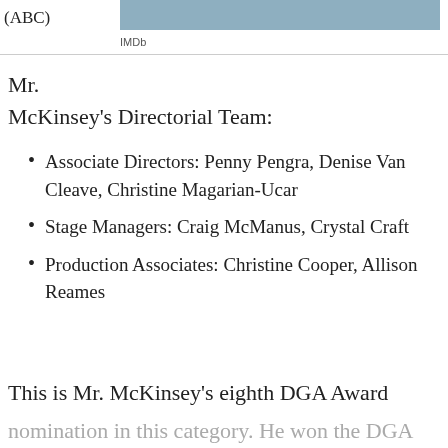(ABC)
IMDb
Mr.
McKinsey's Directorial Team:
Associate Directors: Penny Pengra, Denise Van Cleave, Christine Magarian-Ucar
Stage Managers: Craig McManus, Crystal Craft
Production Associates: Christine Cooper, Allison Reames
This is Mr. McKinsey's eighth DGA Award
nomination in this category. He won the DGA